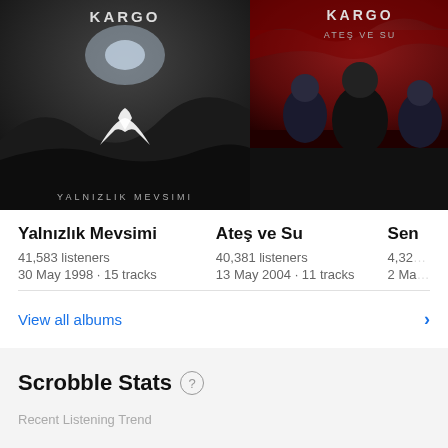[Figure (photo): Album cover for Yalnızlık Mevsimi by Kargo — dark moody landscape with white bird silhouette]
[Figure (photo): Album cover for Ateş ve Su by Kargo — band members in front of red cloudy sky]
[Figure (photo): Partial album cover by Kargo — dark background with face/text, partially cropped]
Yalnızlık Mevsimi
41,583 listeners
30 May 1998 · 15 tracks
Ateş ve Su
40,381 listeners
13 May 2004 · 11 tracks
Sen
4,32...
2 Ma...
View all albums
Scrobble Stats
Recent Listening Trend